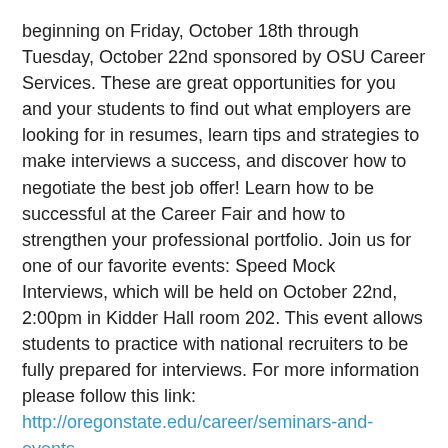beginning on Friday, October 18th through Tuesday, October 22nd sponsored by OSU Career Services. These are great opportunities for you and your students to find out what employers are looking for in resumes, learn tips and strategies to make interviews a success, and discover how to negotiate the best job offer! Learn how to be successful at the Career Fair and how to strengthen your professional portfolio. Join us for one of our favorite events: Speed Mock Interviews, which will be held on October 22nd, 2:00pm in Kidder Hall room 202. This event allows students to practice with national recruiters to be fully prepared for interviews. For more information please follow this link: http://oregonstate.edu/career/seminars-and-events. Please help us get the word out to students of these upcoming events.
Posted in Uncategorized.